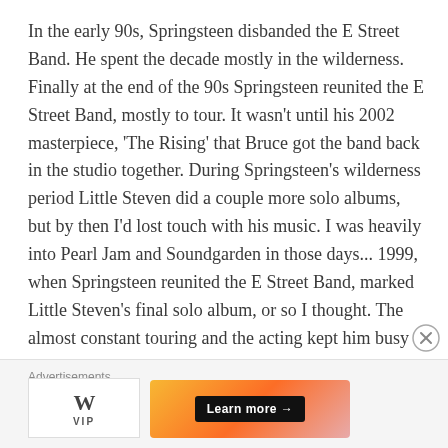In the early 90s, Springsteen disbanded the E Street Band. He spent the decade mostly in the wilderness. Finally at the end of the 90s Springsteen reunited the E Street Band, mostly to tour. It wasn't until his 2002 masterpiece, 'The Rising' that Bruce got the band back in the studio together. During Springsteen's wilderness period Little Steven did a couple more solo albums, but by then I'd lost touch with his music. I was heavily into Pearl Jam and Soundgarden in those days... 1999, when Springsteen reunited the E Street Band, marked Little Steven's final solo album, or so I thought. The almost constant touring and the acting kept him busy in the interim.
Advertisements